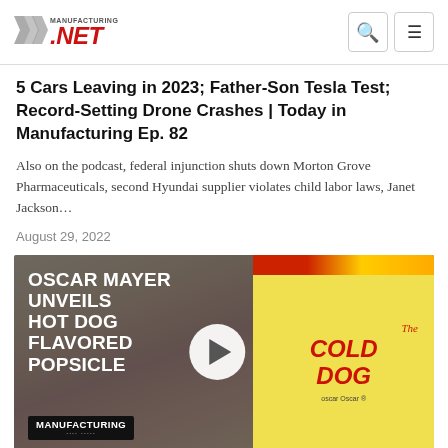Manufacturing.net
5 Cars Leaving in 2023; Father-Son Tesla Test; Record-Setting Drone Crashes | Today in Manufacturing Ep. 82
Also on the podcast, federal injunction shuts down Morton Grove Pharmaceuticals, second Hyundai supplier violates child labor laws, Janet Jackson…
August 29, 2022
[Figure (screenshot): Video thumbnail showing Oscar Mayer Unveils Hot Dog Flavored Popsicle with The Cold Dog branding, overlaid on a hot dog food photo background, with a play button]